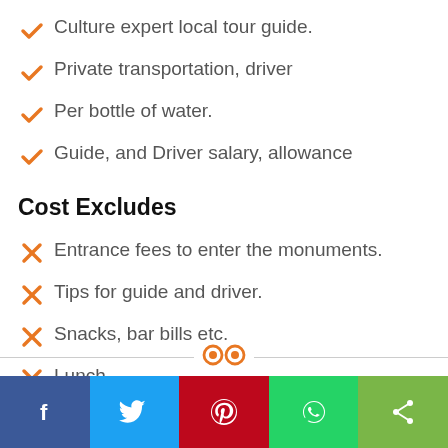Culture expert local tour guide.
Private transportation, driver
Per bottle of water.
Guide, and Driver salary, allowance
Cost Excludes
Entrance fees to enter the monuments.
Tips for guide and driver.
Snacks, bar bills etc.
Lunch.
Social share bar: Facebook, Twitter, Pinterest, WhatsApp, Share